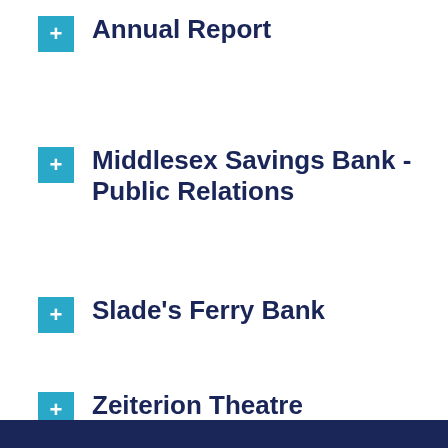Annual Report
Middlesex Savings Bank - Public Relations
Slade's Ferry Bank
Zeiterion Theatre